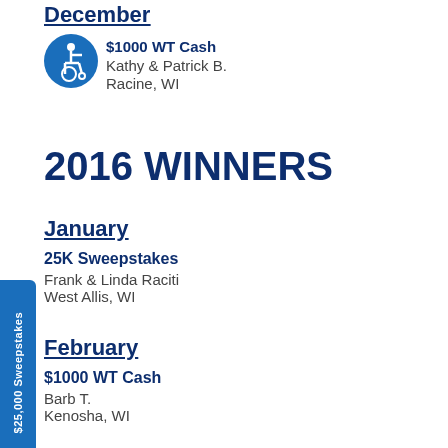December
$1000 WT Cash
Kathy & Patrick B.
Racine, WI
2016 WINNERS
January
25K Sweepstakes
Frank & Linda Raciti
West Allis, WI
February
$1000 WT Cash
Barb T.
Kenosha, WI